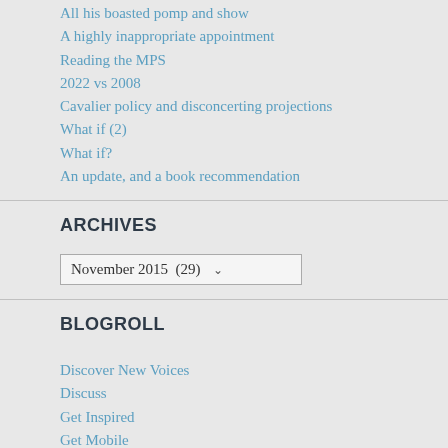All his boasted pomp and show
A highly inappropriate appointment
Reading the MPS
2022 vs 2008
Cavalier policy and disconcerting projections
What if (2)
What if?
An update, and a book recommendation
ARCHIVES
November 2015  (29)
BLOGROLL
Discover New Voices
Discuss
Get Inspired
Get Mobile
Get Polling